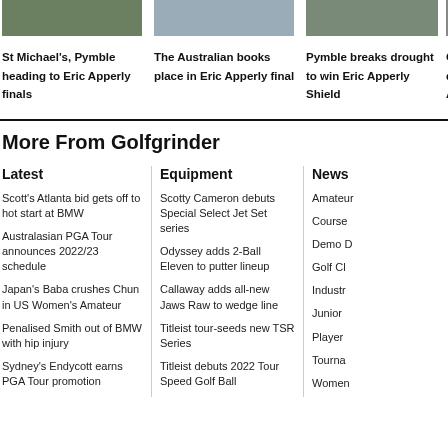[Figure (photo): Golf photo thumbnail - St Michael's Pymble]
[Figure (photo): Golf photo thumbnail - The Australian]
[Figure (photo): Golf photo thumbnail - Pymble Eric Apperly Shield]
[Figure (photo): Golf photo thumbnail - fourth article (partially visible)]
St Michael's, Pymble heading to Eric Apperly finals
The Australian books place in Eric Apperly final
Pymble breaks drought to win Eric Apperly Shield
Q... d... A...
More From Golfgrinder
Latest
Scott's Atlanta bid gets off to hot start at BMW
Australasian PGA Tour announces 2022/23 schedule
Japan's Baba crushes Chun in US Women's Amateur
Penalised Smith out of BMW with hip injury
Sydney's Endycott earns PGA Tour promotion
Equipment
Scotty Cameron debuts Special Select Jet Set series
Odyssey adds 2-Ball Eleven to putter lineup
Callaway adds all-new Jaws Raw to wedge line
Titleist tour-seeds new TSR Series
Titleist debuts 2022 Tour Speed Golf Ball
News
Amateur
Course
Demo D
Golf Cl
Industr
Junior
Player
Tourna
Women